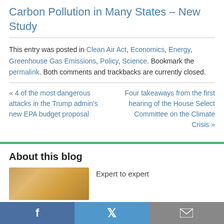Carbon Pollution in Many States – New Study
This entry was posted in Clean Air Act, Economics, Energy, Greenhouse Gas Emissions, Policy, Science. Bookmark the permalink. Both comments and trackbacks are currently closed.
« 4 of the most dangerous attacks in the Trump admin's new EPA budget proposal
Four takeaways from the first hearing of the House Select Committee on the Climate Crisis »
About this blog
Expert to expert
[Figure (photo): Aerial or atmospheric photo with warm golden-brown cloud/haze tones]